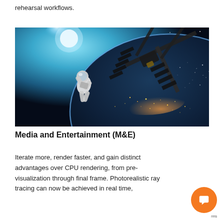rehearsal workflows.
[Figure (illustration): A sci-fi/digital art composite image showing an astronaut floating in a blue cosmic space environment near a large space station structure, with the dark side of Earth visible below illuminated by city lights, and space debris or particles scattered across the scene.]
Media and Entertainment (M&E)
Iterate more, render faster, and gain distinct advantages over CPU rendering, from pre-visualization through final frame. Photorealistic ray tracing can now be achieved in real time,